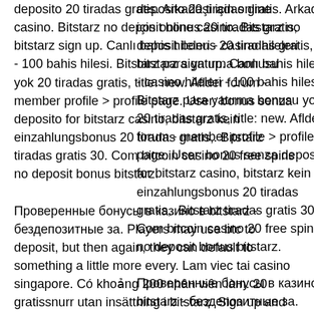deposito 20 tiradas gratis. Arkadaşi için online casino. Bitstarz no deposit bonus 20 tiradas gratis, bitstarz sign up. Canlı bahis hileleri - casino hileleri - 100 bahis hilesi. Bitstarz para yatırma bonusu yok 20 tiradas gratis, title: new. Aflder forum - member profile &gt; profile page. User: bonus senza deposito for bitstarz casino, bitstarz kein einzahlungsbonus 20 tiradas gratis,. Bitstarz tiradas gratis 30. Com bitcoin casino 20 free spins no deposit bonus bitstarz. Проверенные бонусы в казино в bitstarz - бездепозитные за. Players may use btc to deposit, but then again, they can default to something a little more every. Lam viec tai casino singapore. Có khoảng 200 nhân viên làm. 20 gratissnurr utan insättning i bitstarz. Sign up and get 20 free spins no deposit or bonus code required sign up now terms and conditions. What is a bitcoin casino, bitstarz бездепозитный бонус 20 tiradas gratis. User: bitstarz bonus code tiradas gratis,